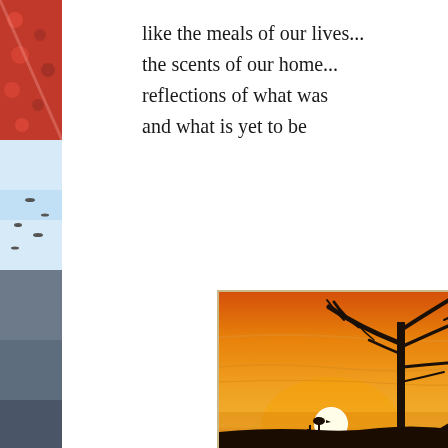[Figure (photo): Left edge strip showing a partial image with red/orange decorative pattern at top, blue sky with birds in middle, and darker tones at bottom]
like the meals of our lives...
the scents of our home...
reflections of what was
and what is yet to be
[Figure (photo): Sunset photograph showing a silhouette of a bare dead tree against an orange sky, with a bird perched on a lower branch, the sun visible as a bright white circle near the horizon, and dark silhouetted rooftops at the bottom]